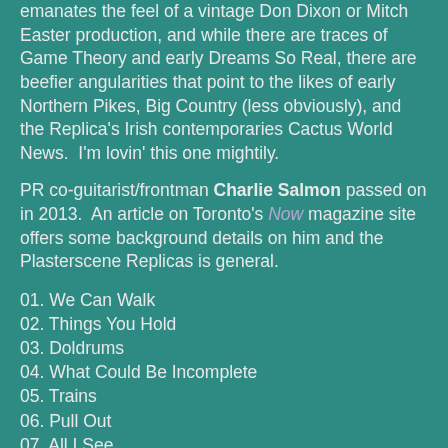emanates the feel of a vintage Don Dixon or Mitch Easter production, and while there are traces of Game Theory and early Dreams So Real, there are beefier angularities that point to the likes of early Northern Pikes, Big Country (less obviously), and the Replica's Irish contemporaries Cactus World News.  I'm lovin' this one mightily.
PR co-guitarist/frontman Charlie Salmon passed on in 2013.  An article on Toronto's Now magazine site offers some background details on him and the Plasterscene Replicas is general.
01. We Can Walk
02. Things You Hold
03. Doldrums
04. What Could Be Incomplete
05. Trains
06. Pull Out
07. All I See
08. Hot Sand
09. Holler
10. Town Crier